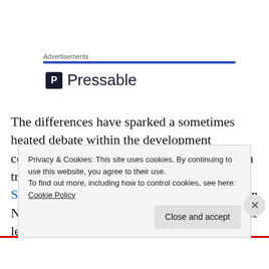Advertisements
[Figure (logo): Pressable logo with blue P icon and Pressable wordmark]
The differences have sparked a sometimes heated debate within the development community as to what the findings about cash transfers mean going forward. A Technology Salon hosted conversation at ThoughtWorks in New York City last week, featured some of the leading researchers
Privacy & Cookies: This site uses cookies. By continuing to use this website, you agree to their use.
To find out more, including how to control cookies, see here: Cookie Policy
Close and accept